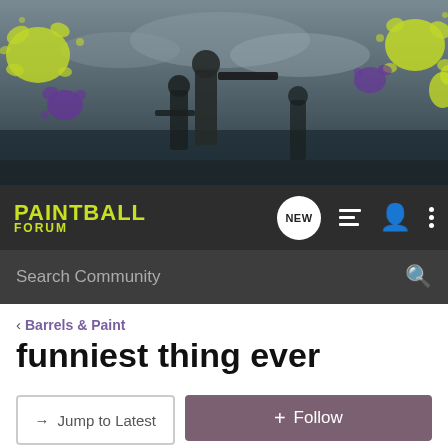[Figure (photo): Paintball forum header banner showing paintball players in tactical gear aiming guns, with yellow-green and purple paint splats decorating the corners, dark dramatic sky background]
PAINTBALL FORUM
Search Community
< Barrels & Paint
funniest thing ever
→ Jump to Latest
+ Follow
1 - 20 of 28 Posts
1 of 2 ►
nightstalker88 · Registered